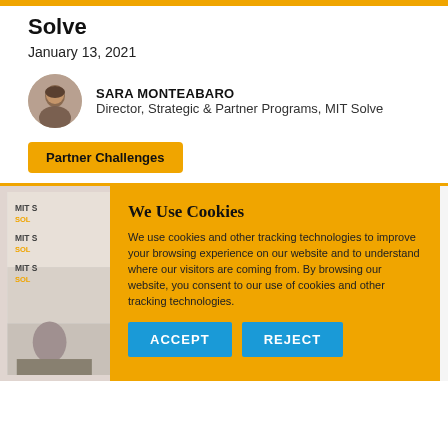Solve
January 13, 2021
SARA MONTEABARO
Director, Strategic & Partner Programs, MIT Solve
Partner Challenges
[Figure (photo): MIT Solve event photo strip showing MIT Solve branded backdrop with repeated logos]
We Use Cookies
We use cookies and other tracking technologies to improve your browsing experience on our website and to understand where our visitors are coming from. By browsing our website, you consent to our use of cookies and other tracking technologies.
ACCEPT   REJECT